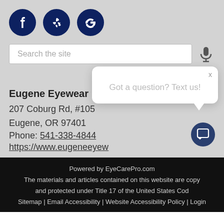[Figure (other): Three circular dark navy social media icons: Facebook (f), Yelp (yelp burst), Google (G)]
[Figure (other): Search bar with placeholder text 'Search the site' and a microphone icon to the right]
Eugene Eyewear
207 Coburg Rd, #105
Eugene, OR 97401
Phone: 541-338-4844
https://www.eugeneeyew...
[Figure (other): White chat popup box with close X and text 'Got a question? Text us!' with speech bubble triangle and dark chat button icon]
Powered by EyeCarePro.com
The materials and articles contained on this website are copy... and protected under Title 17 of the United States Cod...
Sitemap | Email Accessibility | Website Accessibility Policy | Login